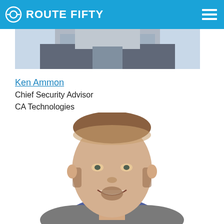ROUTE FIFTY
[Figure (photo): Cropped photo showing lower portion of a person in a grey jacket, partially visible at the top of the page]
Ken Ammon
Chief Security Advisor
CA Technologies
[Figure (photo): Professional headshot of Ken Ammon, a smiling man with short hair, wearing a blue shirt and grey jacket, white background]